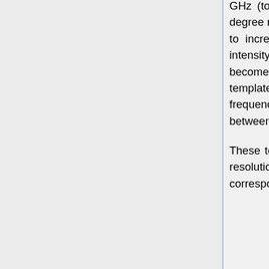GHz (to clean 143 GHz). These two last templates are constructed at 1 degree resolution since an additional smoothing becomes necessary in order to increase the signal-to-noise ratio of the template. Conversely to the intensity case and due to the lower availability of frequency channels, it becomes necessary to use the maps to be cleaned as part of one of the templates. In this way, the 100 GHz map is used to clean the 143 GHz frequency channel and viceversa, making the clean maps less independent between them than in the intensity case.
These templates are then used to clean the non-inpainted 70 (at its native resolution), 100 (at 10' resolution) and 143 GHz maps (also at 10'). The corresponding linear coefficients are estimated independently for Q and U by